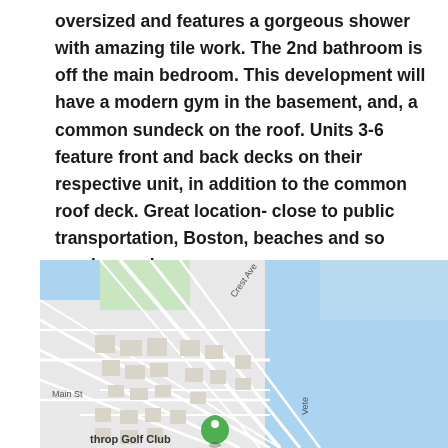oversized and features a gorgeous shower with amazing tile work. The 2nd bathroom is off the main bedroom. This development will have a modern gym in the basement, and, a common sundeck on the roof. Units 3-6 feature front and back decks on their respective unit, in addition to the common roof deck. Great location- close to public transportation, Boston, beaches and so much more!
[Figure (map): Google Maps screenshot showing a coastal area with streets, Crest Ave label, Main St label, and a golf club marker labeled 'throp Golf Club' with a green pin. Blue water visible on the right side.]